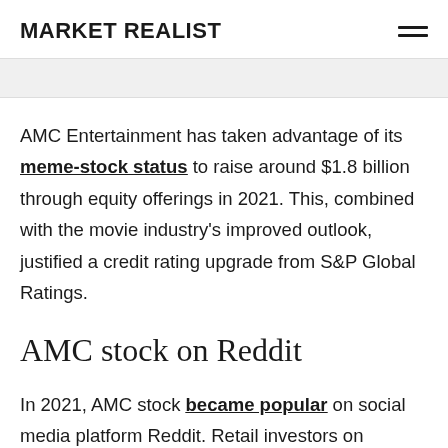MARKET REALIST
AMC Entertainment has taken advantage of its meme-stock status to raise around $1.8 billion through equity offerings in 2021. This, combined with the movie industry's improved outlook, justified a credit rating upgrade from S&P Global Ratings.
AMC stock on Reddit
In 2021, AMC stock became popular on social media platform Reddit. Retail investors on Reddit's